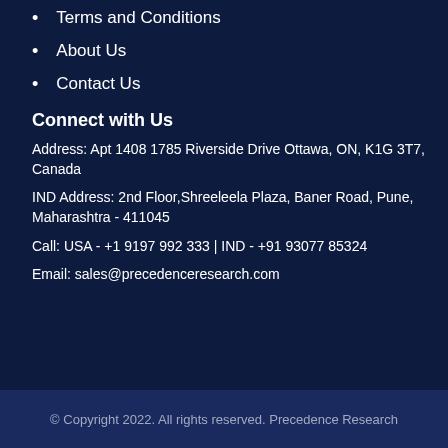Terms and Conditions
About Us
Contact Us
Connect with Us
Address: Apt 1408 1785 Riverside Drive Ottawa, ON, K1G 3T7, Canada
IND Address: 2nd Floor,Shreeleela Plaza, Baner Road, Pune, Maharashtra - 411045
Call: USA - +1 9197 992 333 | IND - +91 93077 85324
Email: sales@precedenceresearch.com
© Copyright 2022. All rights reserved. Precedence Research